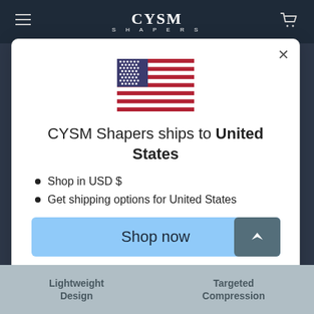CYSM SHAPERS
[Figure (screenshot): Modal dialog on CYSM Shapers website showing US flag, shipping information, and Shop now button]
CYSM Shapers ships to United States
Shop in USD $
Get shipping options for United States
Shop now
Change shipping country
Lightweight Design
Targeted Compression